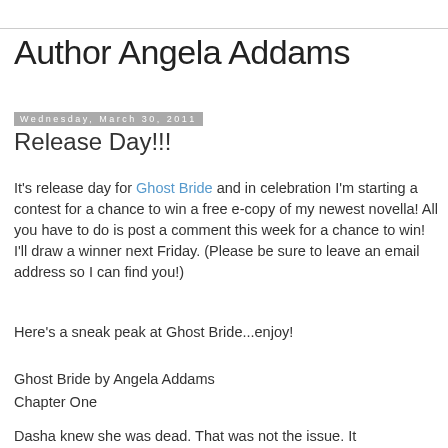Author Angela Addams
Wednesday, March 30, 2011
Release Day!!!
It's release day for Ghost Bride and in celebration I'm starting a contest for a chance to win a free e-copy of my newest novella! All you have to do is post a comment this week for a chance to win! I'll draw a winner next Friday. (Please be sure to leave an email address so I can find you!)
Here's a sneak peak at Ghost Bride...enjoy!
Ghost Bride by Angela Addams
Chapter One
Dasha knew she was dead. That was not the issue. It